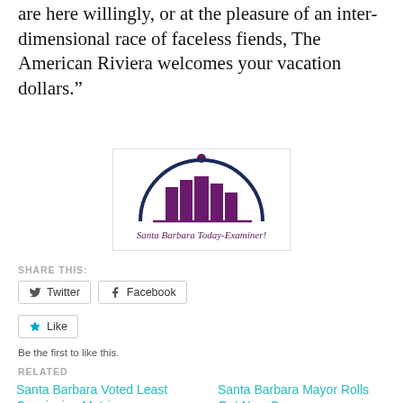are here willingly, or at the pleasure of an inter-dimensional race of faceless fiends, The American Riviera welcomes your vacation dollars.”
[Figure (logo): Santa Barbara Today-Examiner logo: dark navy arch over purple city skyline silhouette with a small dot above, and cursive text 'Santa Barbara Today-Examiner!' below]
SHARE THIS:
Twitter   Facebook
Like
Be the first to like this.
RELATED
Santa Barbara Voted Least Convincing Matrix
Santa Barbara Mayor Rolls Out New Car